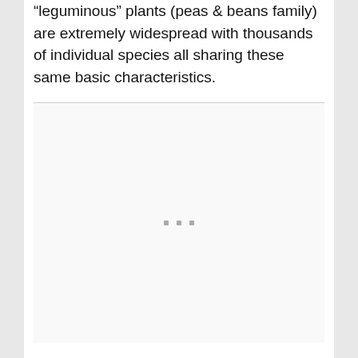“leguminous” plants (peas & beans family) are extremely widespread with thousands of individual species all sharing these same basic characteristics.
[Figure (other): A mostly blank image placeholder region with a thin top border and three small grey squares centered vertically within the space.]